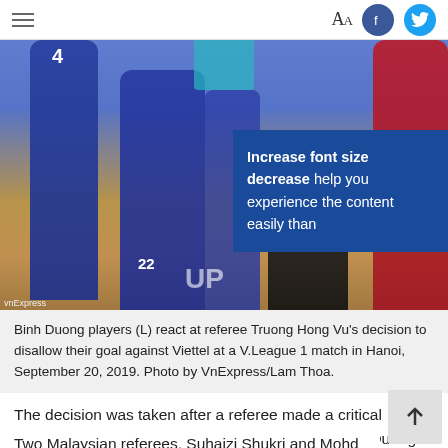Aa [Facebook] [Twitter]
[Figure (photo): Binh Duong players in blue jerseys reacting at a referee during a V.League 1 match. Players wearing numbers 4 and 22 visible. Referee in black uniform. Red-jersyed Viettel player visible on right. Tooltip overlay reads: Increase font size decrease help you experience the content easily than]
Binh Duong players (L) react at referee Truong Hong Vu's decision to disallow their goal against Viettel at a V.League 1 match in Hanoi, September 20, 2019. Photo by VnExpress/Lam Thoa.
The decision was taken after a referee made a critical mistake in a recent match between Viettel and Binh Duong.
Two Malaysian referees, Suhaizi Shukri and Mohd